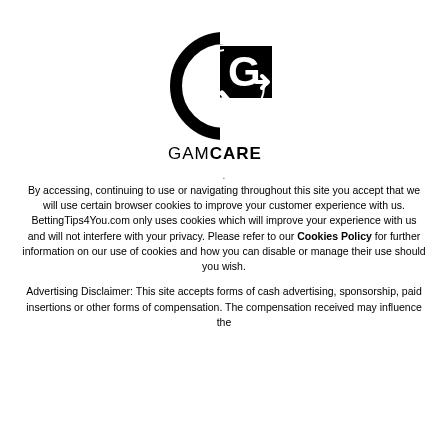[Figure (logo): GamCare logo: black and white circular G shape with arrow, above a black square with white G, and the wordmark GAMCARE below]
By accessing, continuing to use or navigating throughout this site you accept that we will use certain browser cookies to improve your customer experience with us. BettingTips4You.com only uses cookies which will improve your experience with us and will not interfere with your privacy. Please refer to our Cookies Policy for further information on our use of cookies and how you can disable or manage their use should you wish.
Advertising Disclaimer: This site accepts forms of cash advertising, sponsorship, paid insertions or other forms of compensation. The compensation received may influence the